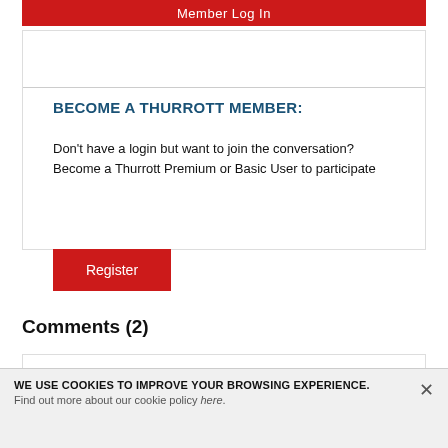Member Log In
BECOME A THURROTT MEMBER:
Don't have a login but want to join the conversation? Become a Thurrott Premium or Basic User to participate
Register
Comments (2)
branpurn
Is this able to do something along the lines of
WE USE COOKIES TO IMPROVE YOUR BROWSING EXPERIENCE. Find out more about our cookie policy here.